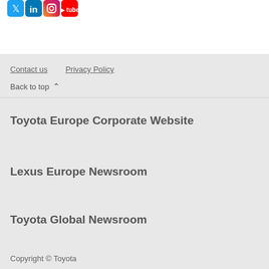[Figure (logo): Social media icons: Twitter (blue bird), LinkedIn (blue), Instagram (gradient), YouTube (red)]
Contact us    Privacy Policy
Back to top ^
Toyota Europe Corporate Website
Lexus Europe Newsroom
Toyota Global Newsroom
Copyright © Toyota